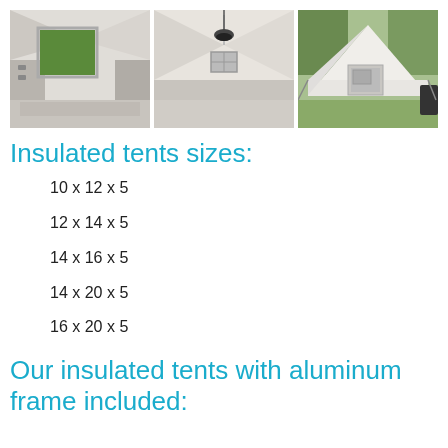[Figure (photo): Three photos of insulated tents: left shows interior with window opening to green field, center shows interior peak with hanging light fixture, right shows exterior of white tent with door panel outdoors.]
Insulated tents sizes:
10 x 12 x 5
12 x 14 x 5
14 x 16 x 5
14 x 20 x 5
16 x 20 x 5
Our insulated tents with aluminum frame included: